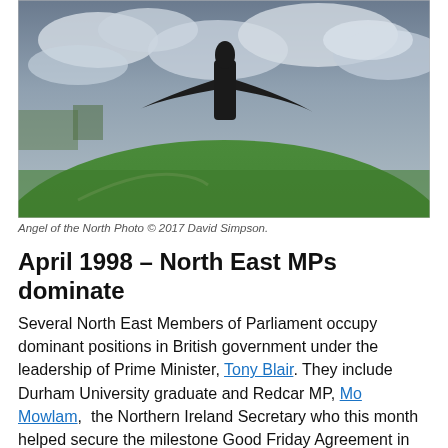[Figure (photo): Outdoor landscape photograph showing a green grassy hill with a dark sculptural figure (Angel of the North) on top, with a cloudy sky background and trees in the distance.]
Angel of the North Photo © 2017 David Simpson.
April 1998 – North East MPs dominate
Several North East Members of Parliament occupy dominant positions in British government under the leadership of Prime Minister, Tony Blair. They include Durham University graduate and Redcar MP, Mo Mowlam,  the Northern Ireland Secretary who this month helped secure the milestone Good Friday Agreement in the Northern Ireland peace process. Other key figures in government include North Tyneside MP Stephen Byers, the Minister for Schools and the County Durham-raised Alan Milburn, the MP for Darlington who becomes Chief Secretary to the Treasury from December and later Secretary